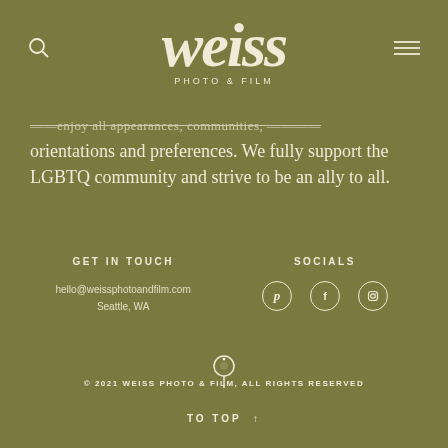[Figure (logo): Weiss Photo & Film logo in white on olive green background with stylized serif lettering]
orientations and preferences. We fully support the LGBTQ community and strive to be an ally to all.
GET IN TOUCH
hello@weissphotoandfilm.com
Seattle, WA
SOCIALS
[Figure (other): Pinterest, Facebook, and Instagram social media icons in circular outlines]
[Figure (logo): Small Weiss logo mark centered on page]
© 2021 WEISS PHOTO & FILM, ALL RIGHTS RESERVED
TO TOP ↑